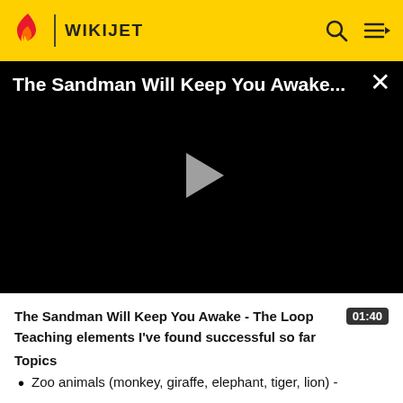WIKIJET
[Figure (screenshot): Video player with black background showing title 'The Sandman Will Keep You Awake...' with a gray play button in the center and a close (X) button in the top right.]
The Sandman Will Keep You Awake - The Loop  01:40
Teaching elements I've found successful so far
Topics
Zoo animals (monkey, giraffe, elephant, tiger, lion) -